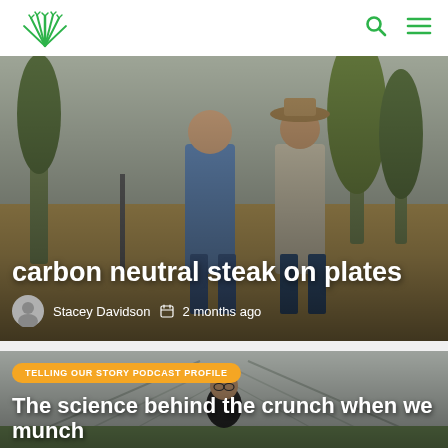GRDC logo, search icon, menu icon
[Figure (photo): Two men standing in a field with young trees, outdoors in rural setting. Overlay title: 'carbon neutral steak on plates'. Author: Stacey Davidson. Published: 2 months ago.]
carbon neutral steak on plates
Stacey Davidson  2 months ago
[Figure (photo): Person standing in a greenhouse/polytunnel structure. Badge text: TELLING OUR STORY PODCAST PROFILE. Title: The science behind the crunch when we munch.]
TELLING OUR STORY PODCAST PROFILE
The science behind the crunch when we munch